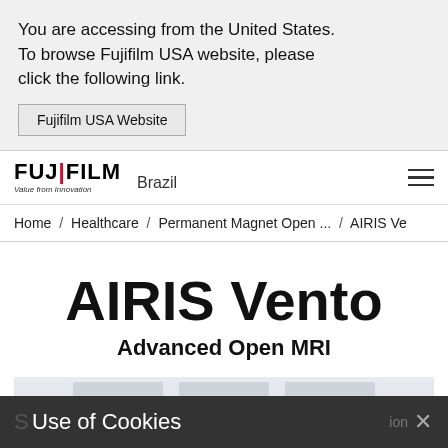You are accessing from the United States. To browse Fujifilm USA website, please click the following link.
Fujifilm USA Website
[Figure (logo): FUJIFILM Brazil logo with 'Value from Innovation' tagline]
Home / Healthcare / Permanent Magnet Open ... / AIRIS Ve
AIRIS Vento
Advanced Open MRI
Use of Cookies